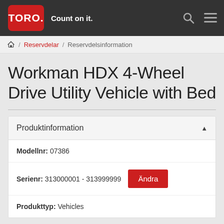TORO. Count on it.
Reservdelar / Reservdelsinformation
Workman HDX 4-Wheel Drive Utility Vehicle with Bed
Produktinformation
Modellnr: 07386
Serienr: 313000001 - 313999999 Ändra
Produkttyp: Vehicles